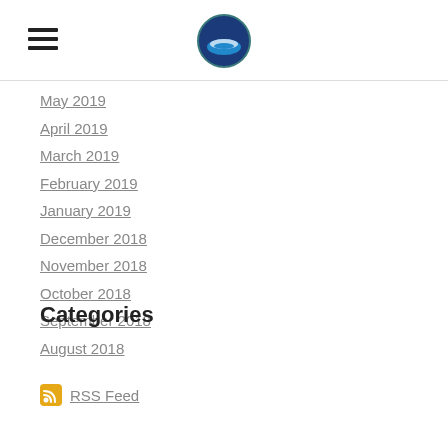NOAA navigation header with hamburger menu and logo
May 2019
April 2019
March 2019
February 2019
January 2019
December 2018
November 2018
October 2018
September 2018
August 2018
Categories
All
RSS Feed